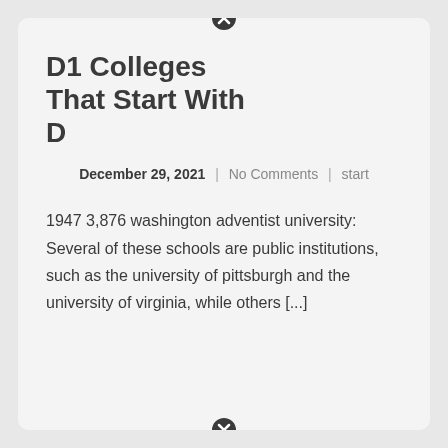D1 Colleges That Start With D
December 29, 2021  |  No Comments  |  start
1947 3,876 washington adventist university: Several of these schools are public institutions, such as the university of pittsburgh and the university of virginia, while others [...]